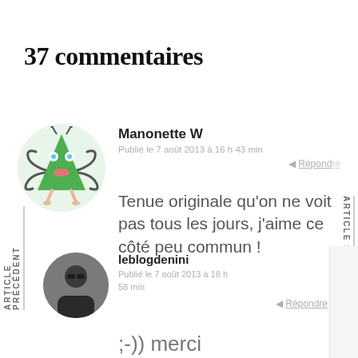37 commentaires
ARTICLE PRÉCÉDENT
ARTICLE SUIVANT
[Figure (illustration): Cartoon alien character: green triangular body, wavy tentacles, red lips, small legs]
Manonette W
Publié le 7 août 2013 à 16 h 43 min
Répondre
Tenue originale qu'on ne voit pas tous les jours, j'aime ce côté peu commun !
[Figure (photo): Small circular photo of a person in dark clothing]
leblogdenini
Publié le 7 août 2013 à 18 h 58 min
Répondre
;-)) merci